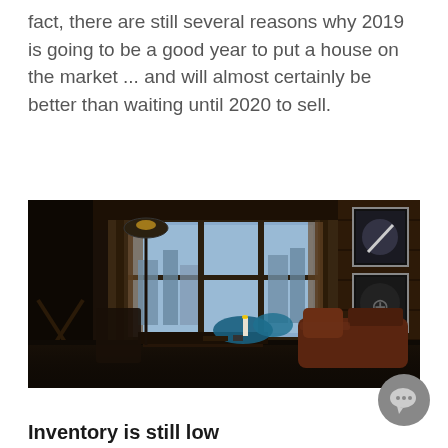fact, there are still several reasons why 2019 is going to be a good year to put a house on the market ... and will almost certainly be better than waiting until 2020 to sell.
[Figure (photo): Interior room photo showing a dark, moody living space with large curtained windows, a leather sofa, a coffee table, wooden wall paneling, a floor lamp, and framed artwork on the right wall. The room has a reflective dark floor and city buildings visible through the window.]
Inventory is still low